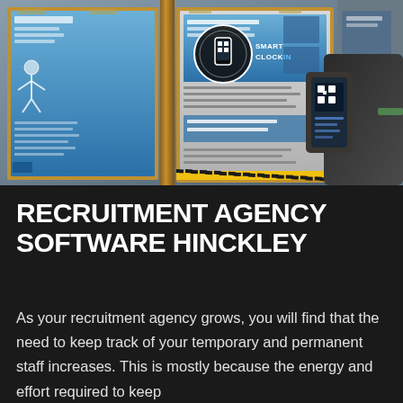[Figure (photo): A person holding a smartphone up to a notice board displaying health and safety posters with blue sections. A 'Smart Clock In' logo is visible, showing a QR code-based time tracking system. The scene is in a workplace or facility corridor.]
RECRUITMENT AGENCY SOFTWARE HINCKLEY
As your recruitment agency grows, you will find that the need to keep track of your temporary and permanent staff increases. This is mostly because the energy and effort required to keep